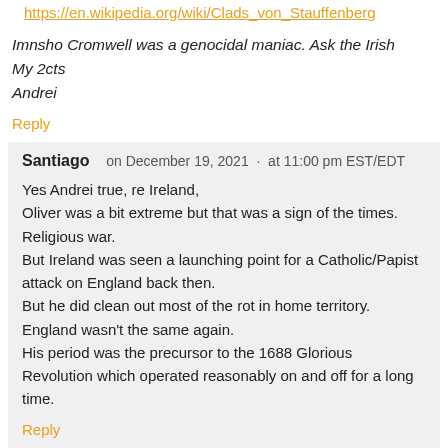https://en.wikipedia.org/wiki/Clads_von_Stauffenberg
Imnsho Cromwell was a genocidal maniac. Ask the Irish
My 2cts
Andrei
Reply
Santiago   on December 19, 2021  ·  at 11:00 pm EST/EDT
Yes Andrei true, re Ireland,
Oliver was a bit extreme but that was a sign of the times. Religious war.
But Ireland was seen a launching point for a Catholic/Papist attack on England back then.
But he did clean out most of the rot in home territory.
England wasn't the same again.
His period was the precursor to the 1688 Glorious Revolution which operated reasonably on and off for a long time.
Reply
Razor   on December 20, 2021  ·  at 7:33 am EST/EDT